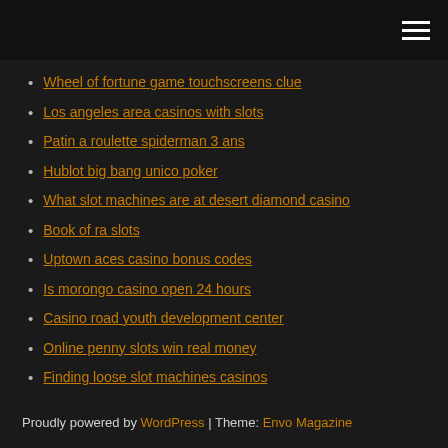[navigation bar with hamburger menu]
Wheel of fortune game touchscreens clue
Los angeles area casinos with slots
Patin a roulette spiderman 3 ans
Hublot big bang unico poker
What slot machines are at desert diamond casino
Book of ra slots
Uptown aces casino bonus codes
Is morongo casino open 24 hours
Casino road youth development center
Online penny slots win real money
Finding loose slot machines casinos
Proudly powered by WordPress | Theme: Envo Magazine